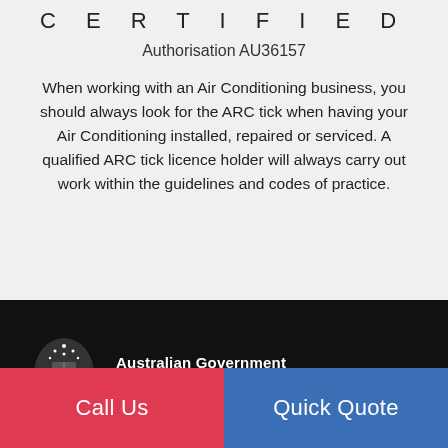CERTIFIED
Authorisation AU36157
When working with an Air Conditioning business, you should always look for the ARC tick when having your Air Conditioning installed, repaired or serviced. A qualified ARC tick licence holder will always carry out work within the guidelines and codes of practice.
[Figure (logo): Australian Government coat of arms logo with text: Australian Government, Department of Agriculture, Water and the Environment, on black background]
Call Us
Quick Quote